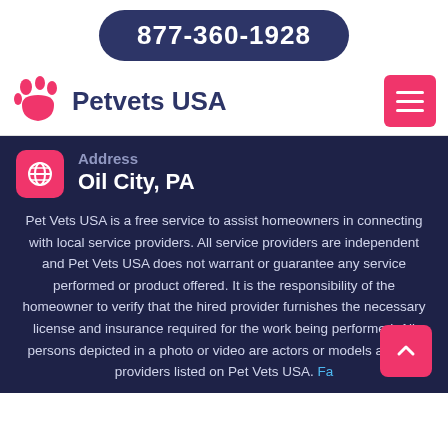877-360-1928
[Figure (logo): Petvets USA logo with pink paw print icon and dark blue text]
Address
Oil City, PA
Pet Vets USA is a free service to assist homeowners in connecting with local service providers. All service providers are independent and Pet Vets USA does not warrant or guarantee any service performed or product offered. It is the responsibility of the homeowner to verify that the hired provider furnishes the necessary license and insurance required for the work being performed. All persons depicted in a photo or video are actors or models and not providers listed on Pet Vets USA. Fa...